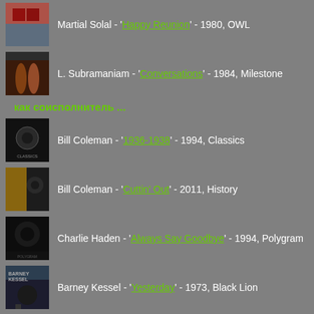Martial Solal - 'Happy Reunion' - 1980, OWL
L. Subramaniam - 'Conversations' - 1984, Milestone
как соисполнитель ...
Bill Coleman - '1936-1938' - 1994, Classics
Bill Coleman - 'Cuttin' Out' - 2011, History
Charlie Haden - 'Always Say Goodbye' - 1994, Polygram
Barney Kessel - 'Yesterday' - 1973, Black Lion
Herbie Mann - 'London Underground' - 1974, Wounded Bird
Michel Petrucciani - 'So What: The Best Of Michel'